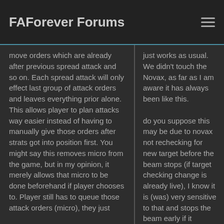FAForever Forums
move orders which are already after previous spread attack and so on. Each spread attack will only effect last group of attack orders and leaves everything prior alone. This allows player to plan attacks way easier instead of having to manually give those orders after strats got into position first. You might say this removes micro from the game, but in my opinion, it merely allows that micro to be done beforehand if player chooses to. Player still has to queue those attack orders (micro), they just
just works as usual. We didn't touch the Novax, as far as I am aware it has always been like this.

do you suppose this may be due to novax not rechecking for new target before the beam stops (if target checking change is already live), I know it is (was) very sensitive to that and stops the beam early if it doesn't have any other enemy unit in range to shoot at, not checking for new targets fast enough automatically may cause